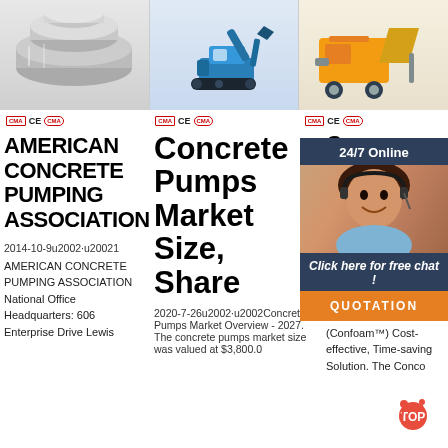[Figure (photo): Three product images: metal pipes/tubes, mini excavator, and mortar/cement pump machine]
CMA CE CMA (certification icons, three columns)
AMERICAN CONCRETE PUMPING ASSOCIATION
Concrete Pumps Market Size, Share
Ce Co Co Ef So Fr Conco ...
2014-10-9u2002·u20021 AMERICAN CONCRETE PUMPING ASSOCIATION National Office Headquarters: 606 Enterprise Drive Lewis
2020-7-26u2002·u2002Concrete Pumps Market Overview - 2027. The concrete pumps market size was valued at $3,800.0
Cellular Concrete (Confoam™) Cost-effective, Time-saving Solution. The Conco
[Figure (screenshot): 24/7 Online chat widget with customer service agent photo, 'Click here for free chat!' and QUOTATION button]